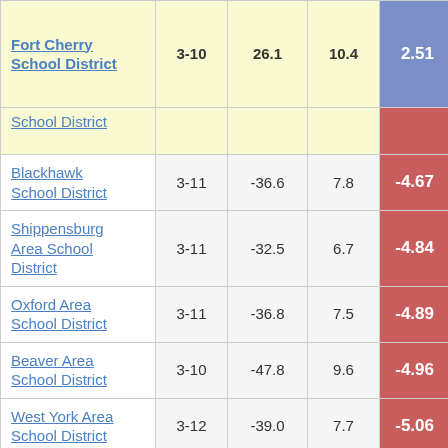| District | Grades | Col3 | Col4 | Score |
| --- | --- | --- | --- | --- |
| Fort Cherry School District | 3-10 | 26.1 | 10.4 | 2.51 |
| School District (partial) |  |  |  |  |
| Blackhawk School District | 3-11 | -36.6 | 7.8 | -4.67 |
| Shippensburg Area School District | 3-11 | -32.5 | 6.7 | -4.84 |
| Oxford Area School District | 3-11 | -36.8 | 7.5 | -4.89 |
| Beaver Area School District | 3-10 | -47.8 | 9.6 | -4.96 |
| West York Area School District | 3-12 | -39.0 | 7.7 | -5.06 |
| Southeastern Greene School District | 3-10 | -72.8 | 14.3 | -5.08 |
| Elizabethtown (partial) |  |  |  |  |